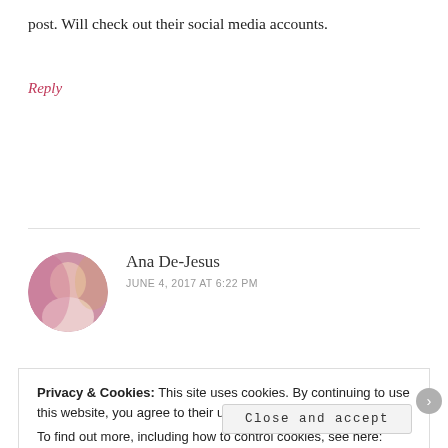post. Will check out their social media accounts.
Reply
Ana De-Jesus
JUNE 4, 2017 AT 6:22 PM
Privacy & Cookies: This site uses cookies. By continuing to use this website, you agree to their use.
To find out more, including how to control cookies, see here: Cookie Policy
Close and accept